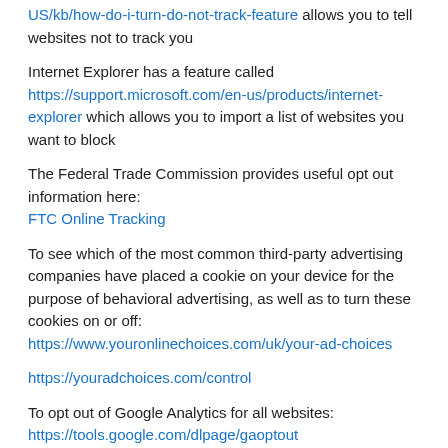US/kb/how-do-i-turn-do-not-track-feature allows you to tell websites not to track you
Internet Explorer has a feature called https://support.microsoft.com/en-us/products/internet-explorer which allows you to import a list of websites you want to block
The Federal Trade Commission provides useful opt out information here: FTC Online Tracking
To see which of the most common third-party advertising companies have placed a cookie on your device for the purpose of behavioral advertising, as well as to turn these cookies on or off: https://www.youronlinechoices.com/uk/your-ad-choices
https://youradchoices.com/control
To opt out of Google Analytics for all websites: https://tools.google.com/dlpage/gaoptout
To opt out of advertising cookies from Google's ad services: https://www.google.com/settings/ads
WHAT TYPES OF COOKIES DO WE USE AND WHY?
First Party Cookies: Whether a cookie is 'first' or 'third' party cookie refers